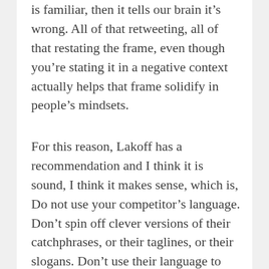is familiar, then it tells our brain it's wrong. All of that retweeting, all of that restating the frame, even though you're stating it in a negative context actually helps that frame solidify in people's mindsets.
For this reason, Lakoff has a recommendation and I think it is sound, I think it makes sense, which is, Do not use your competitor's language. Don't spin off clever versions of their catchphrases, or their taglines, or their slogans. Don't use their language to talk about what it is that you've got to offer. Use your own language that's rooted in your own frame. Otherwise you'll actually reinforce their message even if